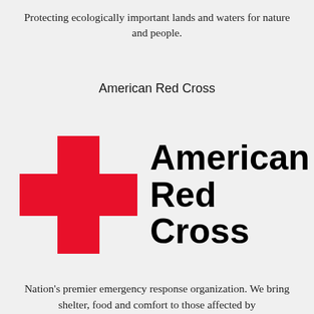Protecting ecologically important lands and waters for nature and people.
American Red Cross
[Figure (logo): American Red Cross logo: red cross symbol on the left and bold black text 'American Red Cross' on the right]
Nation's premier emergency response organization. We bring shelter, food and comfort to those affected by